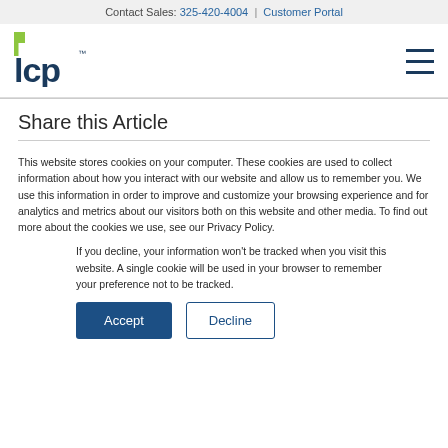Contact Sales: 325-420-4004  |  Customer Portal
[Figure (logo): LCP logo with green L mark and dark blue 'lcp' text with TM symbol]
Share this Article
This website stores cookies on your computer. These cookies are used to collect information about how you interact with our website and allow us to remember you. We use this information in order to improve and customize your browsing experience and for analytics and metrics about our visitors both on this website and other media. To find out more about the cookies we use, see our Privacy Policy.
If you decline, your information won't be tracked when you visit this website. A single cookie will be used in your browser to remember your preference not to be tracked.
Accept  Decline